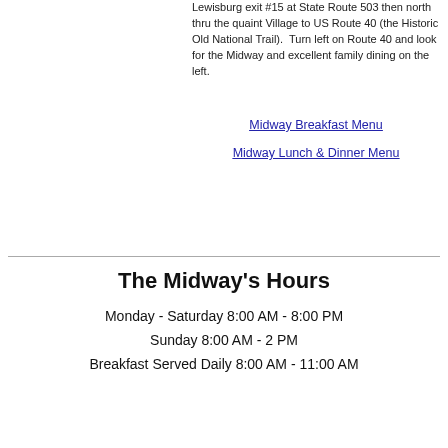Lewisburg exit #15 at State Route 503 then north thru the quaint Village to US Route 40 (the Historic Old National Trail).  Turn left on Route 40 and look for the Midway and excellent family dining on the left.
Midway Breakfast Menu
Midway Lunch & Dinner Menu
The Midway's Hours
Monday - Saturday 8:00 AM - 8:00 PM
Sunday 8:00 AM - 2 PM
Breakfast Served Daily 8:00 AM - 11:00 AM